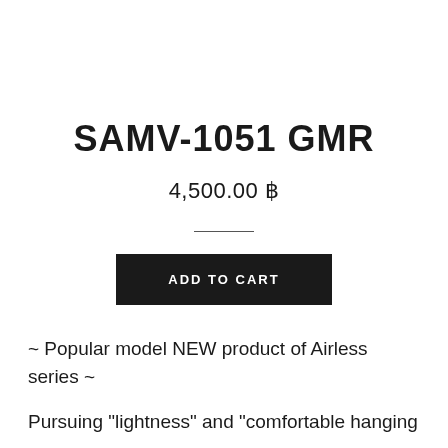SAMV-1051 GMR
4,500.00 ฿
ADD TO CART
~ Popular model NEW product of Airless series ~
Pursuing "lightness" and "comfortable hanging